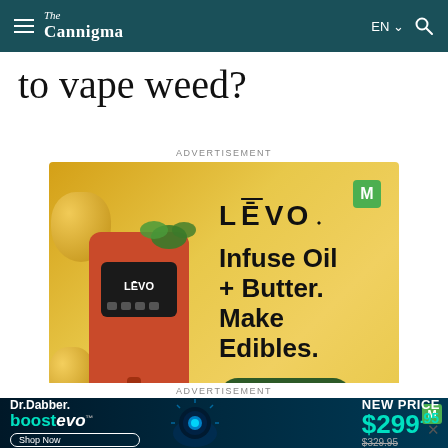The Cannigma | EN | Search
to vape weed?
ADVERTISEMENT
[Figure (photo): LEVO oil infuser machine advertisement. Red LEVO machine with display, surrounded by herbs and golden oil drops on yellow background. Text reads: LEVO, Infuse Oil + Butter. Make Edibles. Learn More button.]
ADVERTISEMENT
[Figure (photo): Dr. Dabber boost evo advertisement. Dark background with glowing device. Text reads: NEW PRICE $299.95 (was $329.95). Shop Now button.]